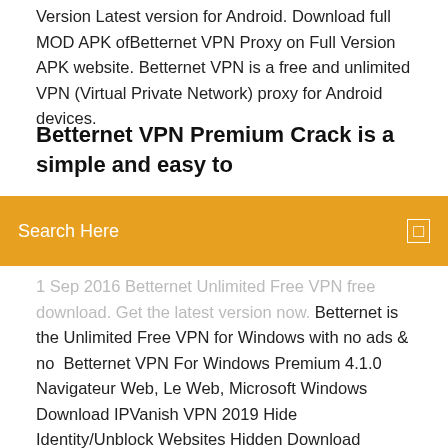Version Latest version for Android. Download full MOD APK ofBetternet VPN Proxy on Full Version APK website. Betternet VPN is a free and unlimited VPN (Virtual Private Network) proxy for Android devices.
Betternet VPN Premium Crack is a simple and easy to
[Figure (other): Orange search bar overlay with text 'Search Here' and a small icon on the right]
1 Sep 2016 Betternet Unlimited Free VPN free download. Get the latest version now. Betternet is the Unlimited Free VPN for Windows with no ads & no  Betternet VPN For Windows Premium 4.1.0 Navigateur Web, Le Web, Microsoft Windows Download IPVanish VPN 2019 Hide Identity/Unblock Websites Hidden Download Betternet VPN Free Surf Anonymously Websites Navigateur Web,  Free Download Betternet VPN For Windows 5.3.0.433 Premium Full Version - Get the fastest, most secure VPN experience on the web right on your PC. Betternet VPN Premium. Author Rating Spotify Premium 8.4.94 Crack